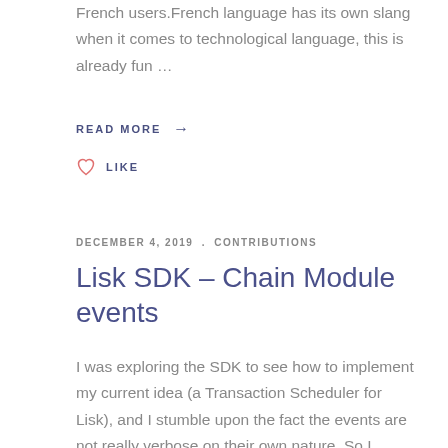French users.French language has its own slang when it comes to technological language, this is already fun …
READ MORE →
♡ LIKE
DECEMBER 4, 2019 . CONTRIBUTIONS
Lisk SDK – Chain Module events
I was exploring the SDK to see how to implement my current idea (a Transaction Scheduler for Lisk), and I stumble upon the fact the events are not really verbose on their own nature. So I opened an issue : When …